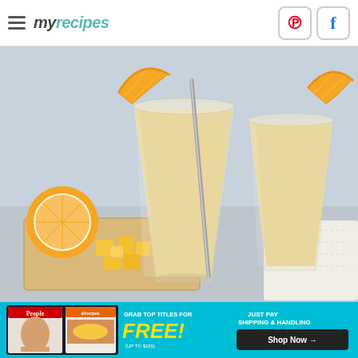myrecipes - hamburger menu, Pinterest and Facebook social buttons
[Figure (photo): Two tall glasses of creamy mango-orange smoothies garnished with orange slices and a metal straw, displayed on a wooden cutting board with mango chunks and halved oranges on a light blue-grey background.]
[Figure (infographic): Advertisement banner: 'GRAB TOP TITLES FOR FREE! (UP TO $100) JUST PAY SHIPPING & HANDLING - Shop Now' featuring People and AllRecipes magazine covers, on a teal/yellow background.]